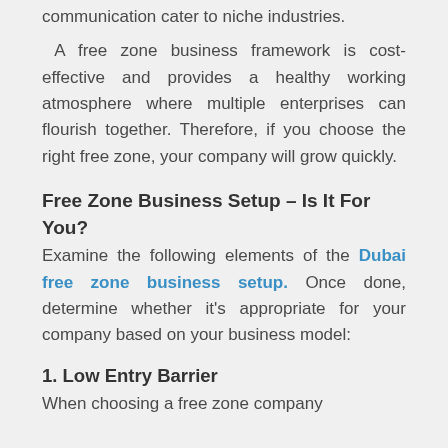communication cater to niche industries.
A free zone business framework is cost-effective and provides a healthy working atmosphere where multiple enterprises can flourish together. Therefore, if you choose the right free zone, your company will grow quickly.
Free Zone Business Setup – Is It For You?
Examine the following elements of the Dubai free zone business setup. Once done, determine whether it's appropriate for your company based on your business model:
1. Low Entry Barrier
When choosing a free zone company